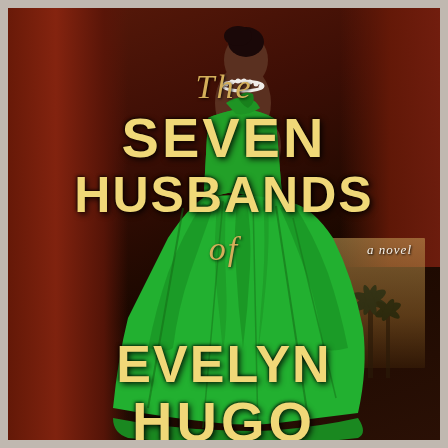[Figure (illustration): Book cover for 'The Seven Husbands of Evelyn Hugo' — a woman in a voluminous emerald green gown stands in profile against a dark warm background with reddish curtains. She wears a pearl necklace. The title text is overlaid in large bold gold/yellow letters. Subtitle 'a novel' appears in small italic white text on the right side.]